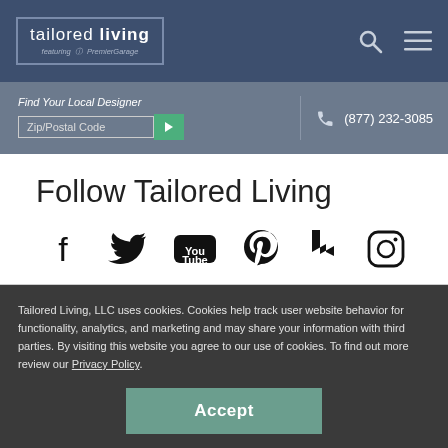Tailored Living featuring PremierGarage
Find Your Local Designer — Zip/Postal Code — (877) 232-3085
Follow Tailored Living
[Figure (other): Social media icons: Facebook, Twitter, YouTube, Pinterest, Houzz, Instagram]
Tailored Living, LLC uses cookies. Cookies help track user website behavior for functionality, analytics, and marketing and may share your information with third parties. By visiting this website you agree to our use of cookies. To find out more review our Privacy Policy.
Accept